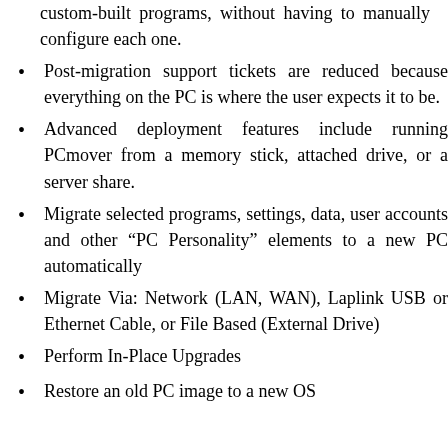custom-built programs, without having to manually configure each one.
Post-migration support tickets are reduced because everything on the PC is where the user expects it to be.
Advanced deployment features include running PCmover from a memory stick, attached drive, or a server share.
Migrate selected programs, settings, data, user accounts and other “PC Personality” elements to a new PC automatically
Migrate Via: Network (LAN, WAN), Laplink USB or Ethernet Cable, or File Based (External Drive)
Perform In-Place Upgrades
Restore an old PC image to a new OS